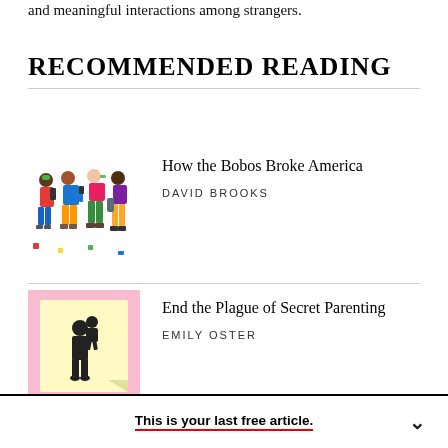and meaningful interactions among strangers.
RECOMMENDED READING
[Figure (illustration): Colorful illustration of a diverse crowd of people walking together, carrying bags and phones.]
How the Bobos Broke America
DAVID BROOKS
[Figure (illustration): Yellow sticky note with a silhouette of a parent carrying a child on their back, on a pink background.]
End the Plague of Secret Parenting
EMILY OSTER
This is your last free article.